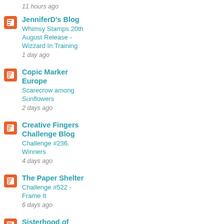11 hours ago
JenniferD's Blog
Whimsy Stamps 20th August Release - Wizzard In Training
1 day ago
Copic Marker Europe
Scarecrow among Sunflowers
2 days ago
Creative Fingers Challenge Blog
Challenge #236. Winners
4 days ago
The Paper Shelter
Challenge #522 - Frame It
6 days ago
Sisterhood of Sparky Stampers